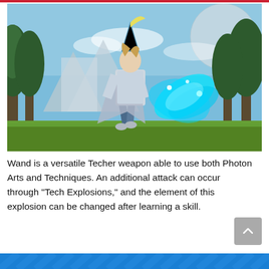[Figure (screenshot): In-game screenshot of a character in white and teal armor wielding a wand with glowing cyan energy, set in a lush outdoor environment with trees, mountains, and a large moon in the background.]
Wand is a versatile Techer weapon able to use both Photon Arts and Techniques. An additional attack can occur through "Tech Explosions," and the element of this explosion can be changed after learning a skill.